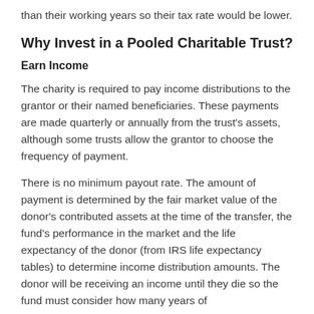than their working years so their tax rate would be lower.
Why Invest in a Pooled Charitable Trust?
Earn Income
The charity is required to pay income distributions to the grantor or their named beneficiaries. These payments are made quarterly or annually from the trust's assets, although some trusts allow the grantor to choose the frequency of payment.
There is no minimum payout rate. The amount of payment is determined by the fair market value of the donor's contributed assets at the time of the transfer, the fund's performance in the market and the life expectancy of the donor (from IRS life expectancy tables) to determine income distribution amounts. The donor will be receiving an income until they die so the fund must consider how many years of